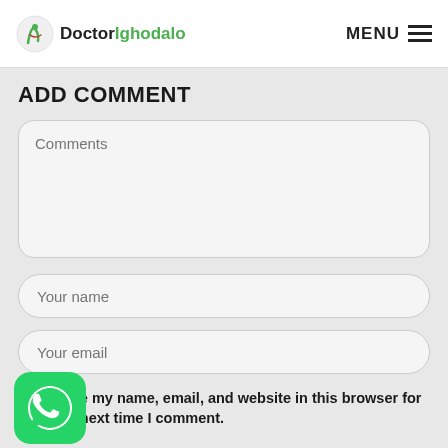Doctor Ighodalo | MENU
ADD COMMENT
Comments
Your name
Your email
Save my name, email, and website in this browser for the next time I comment.
[Figure (logo): WhatsApp icon button, green rounded square with white phone handset]